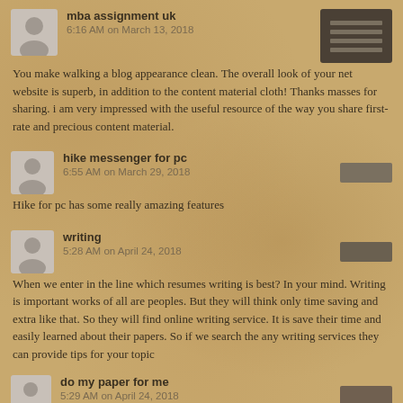mba assignment uk
6:16 AM on March 13, 2018
You make walking a blog appearance clean. The overall look of your net website is superb, in addition to the content material cloth! Thanks masses for sharing. i am very impressed with the useful resource of the way you share first-rate and precious content material.
hike messenger for pc
6:55 AM on March 29, 2018
Hike for pc has some really amazing features
writing
5:28 AM on April 24, 2018
When we enter in the line which resumes writing is best? In your mind. Writing is important works of all are peoples. But they will think only time saving and extra like that. So they will find online writing service. It is save their time and easily learned about their papers. So if we search the any writing services they can provide tips for your topic
do my paper for me
5:29 AM on April 24, 2018